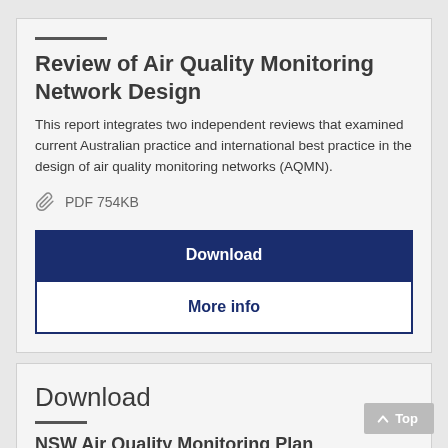Review of Air Quality Monitoring Network Design
This report integrates two independent reviews that examined current Australian practice and international best practice in the design of air quality monitoring networks (AQMN).
PDF 754KB
Download
More info
Download
NSW Air Quality Monitoring Plan